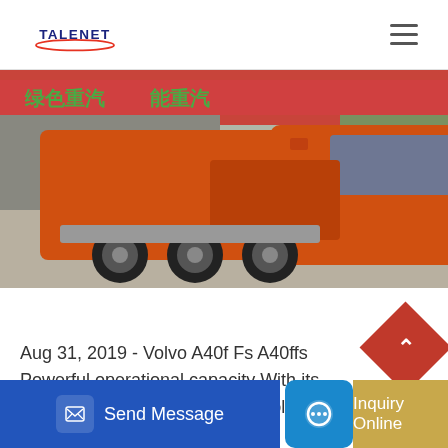TALENET
[Figure (photo): An orange heavy-duty truck (tractor unit) parked in a yard with Chinese banners in the background. The truck has a prominent front grille, large tires, and a flatbed configuration.]
Aug 31, 2019 - Volvo A40f Fs A40ffs Powerful operational capacity With its smooth controls and powerful Volvo A40f F... ...des ope
[Figure (other): Back to top button - red diamond shape with upward arrow]
[Figure (other): Bottom navigation bar with Send Message button, chat icon button, and Inquiry Online button]